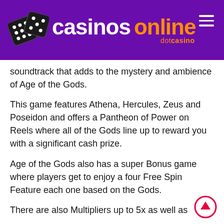casinos online dotcasino
soundtrack that adds to the mystery and ambience of Age of the Gods.
This game features Athena, Hercules, Zeus and Poseidon and offers a Pantheon of Power on Reels where all of the Gods line up to reward you with a significant cash prize.
Age of the Gods also has a super Bonus game where players get to enjoy a four Free Spin Feature each one based on the Gods.
There are also Multipliers up to 5x as well as